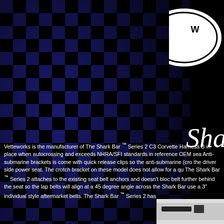[Figure (illustration): Blue and black checkerboard pattern background covering upper-left portion of the page]
[Figure (logo): White oval/circular logo partially visible in upper right corner]
Sha
Vetteworks is the manufacturer of The Shark Bar ™ Series 2 C3 Corvette Harness Bar in place when autocrossing and exceeds NHRA/SFI standards in reference OEM sea Anti-submarine brackets is come with quick release clips so the anti-submarine (cro the driver side power seat. The crotch bracket on these model does not allow for a qu The Shark Bar ™ Series 2 attaches to the existing seat belt anchors and doesn't bloc belt further behind the seat so the lap belts will align at a 45 degree angle across the Shark Bar use a 3" individual style aftermarket belts. The Shark Bar ™ Series 2 has
[Figure (photo): Partial photo of what appears to be automotive harness bar hardware, visible in bottom-right corner]